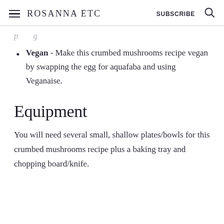Rosanna ETC  SUBSCRIBE
Vegan - Make this crumbed mushrooms recipe vegan by swapping the egg for aquafaba and using Veganaise.
Equipment
You will need several small, shallow plates/bowls for this crumbed mushrooms recipe plus a baking tray and chopping board/knife.